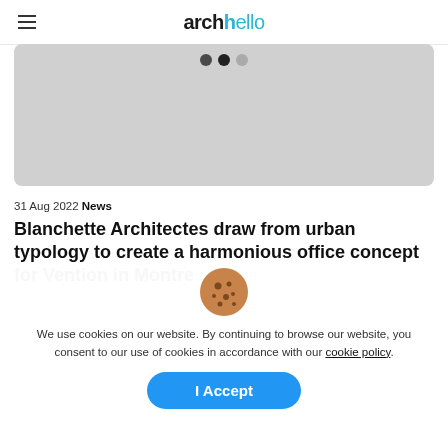archello
[Figure (photo): Gray placeholder image with three dots (carousel indicator) at top center]
31 Aug 2022 News
Blanchette Architectes draw from urban typology to create a harmonious office concept for Vention in Montre
We use cookies on our website. By continuing to browse our website, you consent to our use of cookies in accordance with our cookie policy.
I Accept